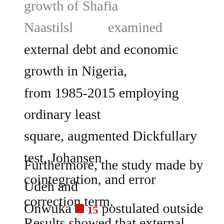growth of Shafia Naastilsl… examined external debt and economic growth in Nigeria, from 1985-2015 employing ordinary least square, augmented Dickfullary test, Johansen cointegration, and error correction term. Results showed that external obligation has a positive and statistically substantial influence on economic progress.
Furthermore, the study made by Udeh and Onwuka [15] postulated outside debt and economic evolution in Nigeria, from 1980-2013 employing ordinary least square, augmented Dickfullary test, cointegration, and error correction term. The study found that external debt has…